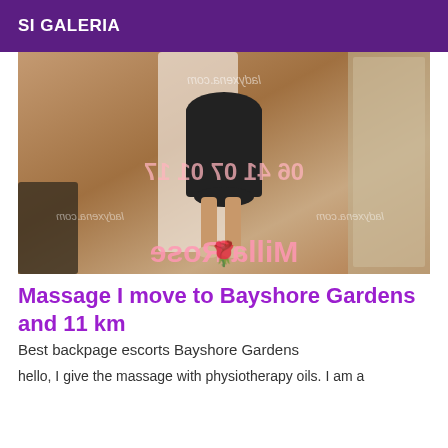SI GALERIA
[Figure (photo): A photo of a person in a dark skirt viewed from behind in an indoor setting with wooden floor, with mirror reflections and watermarks reading 'ladyxena.com', '06 41 07 01 17', and 'Milla Rose']
Massage I move to Bayshore Gardens and 11 km
Best backpage escorts Bayshore Gardens
hello, I give the massage with physiotherapy oils. I am a